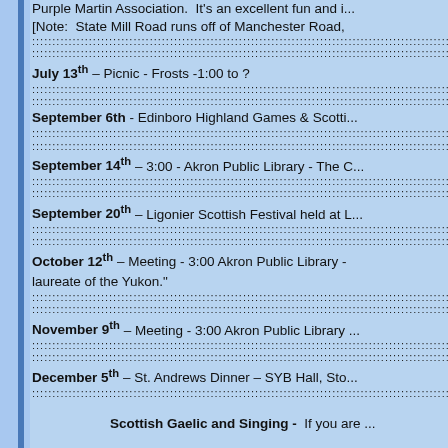Purple Martin Association. It's an excellent fun and i... [Note: State Mill Road runs off of Manchester Road,
July 13th – Picnic - Frosts -1:00 to ?
September 6th - Edinboro Highland Games & Scotti...
September 14th – 3:00 - Akron Public Library - The C...
September 20th – Ligonier Scottish Festival held at L...
October 12th – Meeting - 3:00 Akron Public Library - ... laureate of the Yukon."
November 9th – Meeting - 3:00 Akron Public Library ...
December 5th – St. Andrews Dinner – SYB Hall, Sto...
Scottish Gaelic and Singing - If you are ... Frances.acar@gmail.com. Her telephone ... patient instructor. She teaches classes at ...